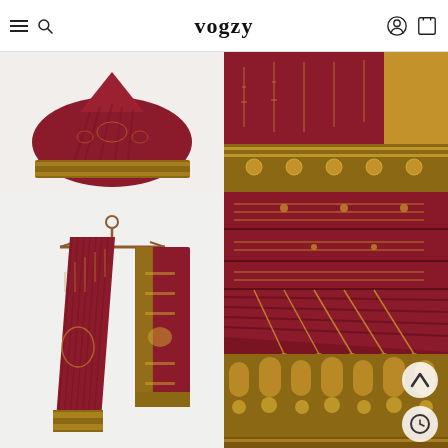vogzy
[Figure (photo): Top-left: Partial view of a dark red/maroon saree with gold zari embroidery, draped and folded, on white background]
[Figure (photo): Top-right: Close-up view of a dark red/maroon saree with intricate gold zari embroidery work, showing detailed weave patterns]
[Figure (photo): Bottom-left: Full display of a dark crimson/maroon Banarasi saree with gold zari border and pallu, shown spread with hanger on white background]
[Figure (photo): Bottom-right: Close-up detail of red saree fabric showing traditional gold zari motifs including floral and geometric patterns, with navigation arrows]